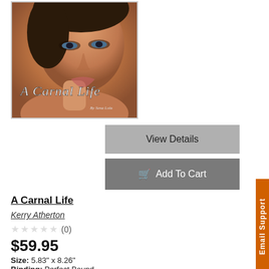[Figure (photo): Book cover for 'A Carnal Life' by Kerry Atherton showing a close-up photo of a woman's face and neck with the title in cursive script overlaid.]
View Details
Add To Cart
A Carnal Life
Kerry Atherton
☆☆☆☆☆ (0)
$59.95
Size: 5.83" x 8.26"
Binding: Perfect Bound